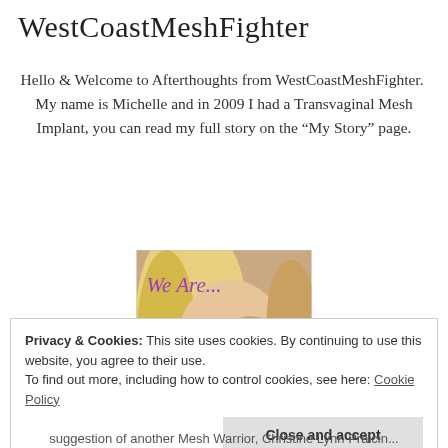WestCoastMeshFighter
Hello & Welcome to Afterthoughts from WestCoastMeshFighter.  My name is Michelle and in 2009 I had a Transvaginal Mesh Implant, you can read my full story on the “My Story” page.
[Figure (photo): Photo of a blonde woman with blue eyes and red lipstick, overlaid with purple italic text reading 'We Are...' in the upper left corner of the image.]
Privacy & Cookies: This site uses cookies. By continuing to use this website, you agree to their use.
To find out more, including how to control cookies, see here: Cookie Policy
Close and accept
suggestion of another Mesh Warrior, Christine Lynn Praicin...